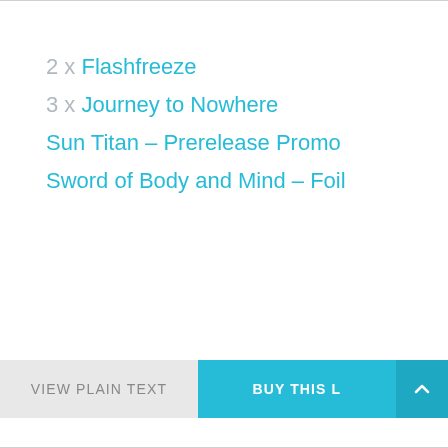2 x Flashfreeze
3 x Journey to Nowhere
Sun Titan – Prerelease Promo
Sword of Body and Mind – Foil
VIEW PLAIN TEXT
BUY THIS L